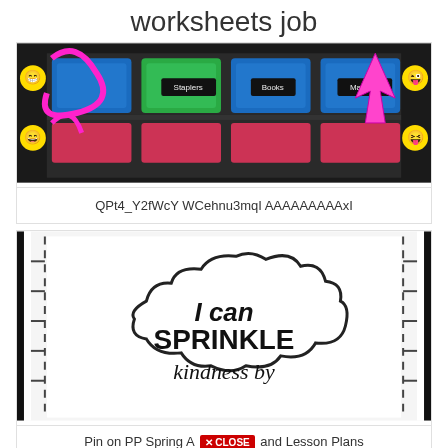worksheets job
[Figure (photo): Colorful classroom supply organizer with baskets labeled Staplers, Books, Markers, with emoji decorations and a pink arrow pointing to the organized bins]
QPt4_Y2fWcY WCehnu3mqI AAAAAAAAAxI
[Figure (photo): White poster board with dashed border and black and white vertical stripe border showing text 'I can SPRINKLE kindness by' in decorative lettering inside a cloud shape]
Pin on PP Spring A ✕ CLOSE and Lesson Plans